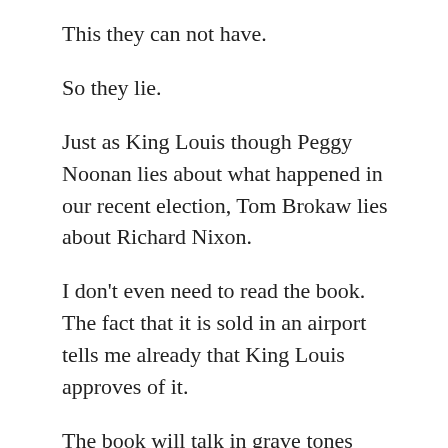This they can not have.
So they lie.
Just as King Louis though Peggy Noonan lies about what happened in our recent election, Tom Brokaw lies about Richard Nixon.
I don't even need to read the book.  The fact that it is sold in an airport tells me already that King Louis approves of it.
The book will talk in grave tones about Richard Nixon violating his sacred oath to uphold the Constitution, and it will deify Bernstein, Woodward (Yale), and Bradlee (Harvard);but nowhere to be found will be the CIA connections to the Watergate